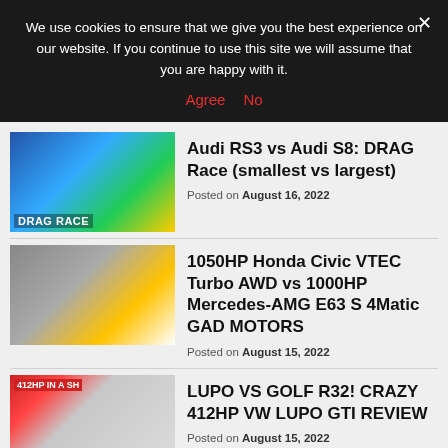We use cookies to ensure that we give you the best experience on our website. If you continue to use this site we will assume that you are happy with it.
Agree  No
[Figure (photo): Thumbnail of two Audi cars on a drag race strip]
Audi RS3 vs Audi S8: DRAG Race (smallest vs largest)
Posted on August 16, 2022
[Figure (photo): Thumbnail of a gold Honda Civic and a white Mercedes-AMG on a drag strip]
1050HP Honda Civic VTEC Turbo AWD vs 1000HP Mercedes-AMG E63 S 4Matic GAD MOTORS
Posted on August 15, 2022
[Figure (photo): Thumbnail of a grey VW Lupo with red banner reading 412HP IN A SH...]
LUPO VS GOLF R32! CRAZY 412HP VW LUPO GTI REVIEW
Posted on August 15, 2022
[Figure (photo): Thumbnail of a Ford Mustang drag race video]
1000HP Twin Turbo Ford Mustang GT vs